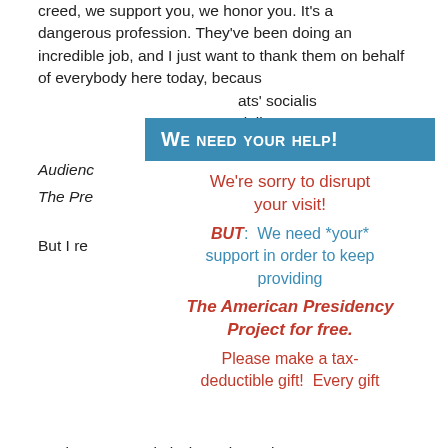creed, we support you, we honor you. It's a dangerous profession. They've been doing an incredible job, and I just want to thank them on behalf of everybody here today, because [they're fighting against the Democrats' socialism] ...an socialism ...ism. Audience... The Pre... —that's... —yes, I But I re...tunity, security...y, to the His...n't have to go o...o bring back ne...ore. And we...
[Figure (infographic): Overlay popup with blue header 'WE NEED YOUR HELP!' and white body containing donation appeal text for The American Presidency Project.]
But increase capital—it's going to increase money coming into the Black community, to the Hispanic community, where it's been very much shut out—and advance, very much,